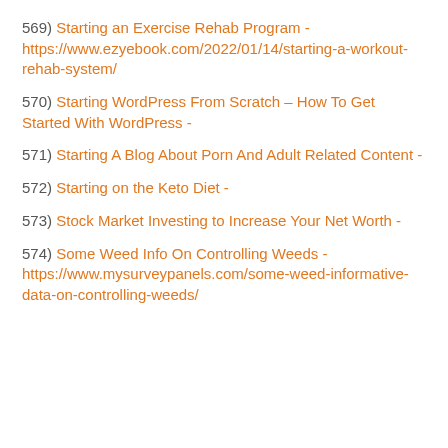569) Starting an Exercise Rehab Program - https://www.ezyebook.com/2022/01/14/starting-a-workout-rehab-system/
570) Starting WordPress From Scratch – How To Get Started With WordPress -
571) Starting A Blog About Porn And Adult Related Content -
572) Starting on the Keto Diet -
573) Stock Market Investing to Increase Your Net Worth -
574) Some Weed Info On Controlling Weeds - https://www.mysurveypanels.com/some-weed-informative-data-on-controlling-weeds/